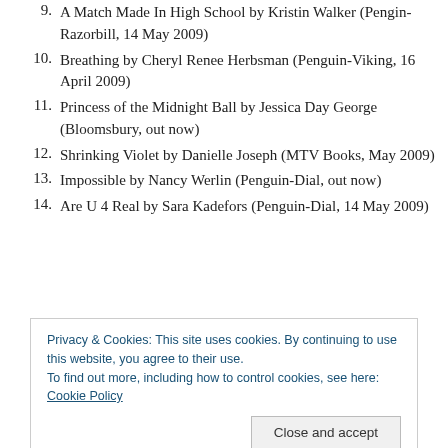9. A Match Made In High School by Kristin Walker (Pengin-Razorbill, 14 May 2009)
10. Breathing by Cheryl Renee Herbsman (Penguin-Viking, 16 April 2009)
11. Princess of the Midnight Ball by Jessica Day George (Bloomsbury, out now)
12. Shrinking Violet by Danielle Joseph (MTV Books, May 2009)
13. Impossible by Nancy Werlin (Penguin-Dial, out now)
14. Are U 4 Real by Sara Kadefors (Penguin-Dial, 14 May 2009)
Privacy & Cookies: This site uses cookies. By continuing to use this website, you agree to their use.
To find out more, including how to control cookies, see here: Cookie Policy
[Close and accept]